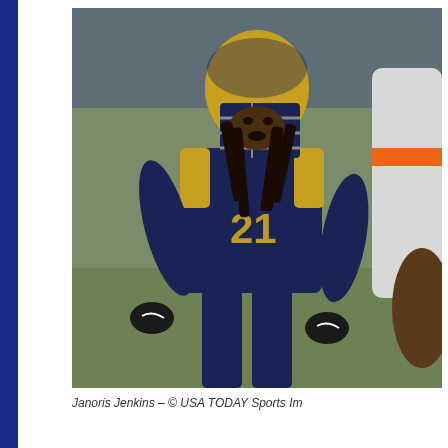[Figure (photo): Football player Janoris Jenkins wearing St. Louis Rams navy blue and gold jersey number 21, in a crouched defensive stance on the field, facing an opposing player in a white and orange Chicago Bears uniform.]
Janoris Jenkins – © USA TODAY Sports Im